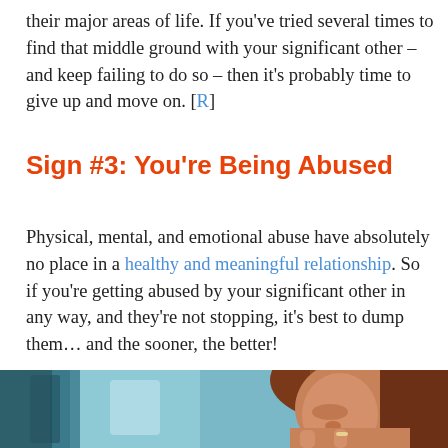their major areas of life. If you've tried several times to find that middle ground with your significant other – and keep failing to do so – then it's probably time to give up and move on. [R]
Sign #3: You're Being Abused
Physical, mental, and emotional abuse have absolutely no place in a healthy and meaningful relationship. So if you're getting abused by your significant other in any way, and they're not stopping, it's best to dump them… and the sooner, the better!
[Figure (photo): A young woman with auburn hair sitting with her eyes closed and hands clasped near her face, appearing distressed or in contemplation, with a blurred background.]